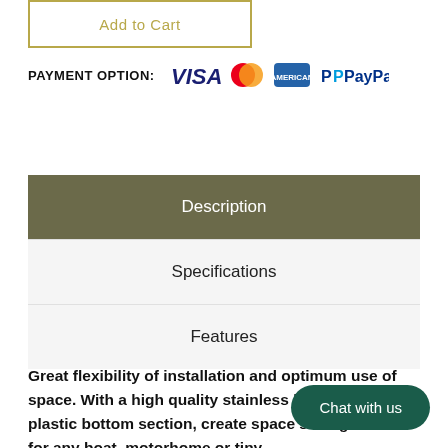Add to Cart
PAYMENT OPTION: VISA Mastercard American Express PayPal
Description
Specifications
Features
Great flexibility of installation and optimum use of space. With a high quality stainless lining and a plastic bottom section, create space saving freezer for any boat, motorhome or tiny
Chat with us